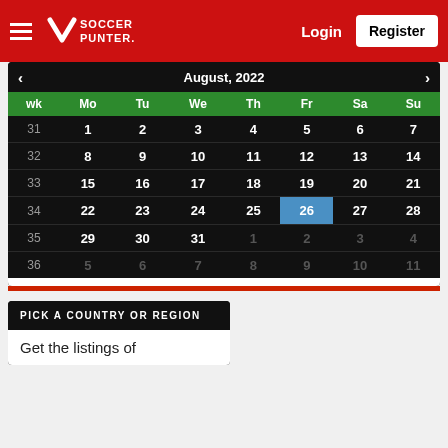Soccer Punter — Login | Register
| wk | Mo | Tu | We | Th | Fr | Sa | Su |
| --- | --- | --- | --- | --- | --- | --- | --- |
| 31 | 1 | 2 | 3 | 4 | 5 | 6 | 7 |
| 32 | 8 | 9 | 10 | 11 | 12 | 13 | 14 |
| 33 | 15 | 16 | 17 | 18 | 19 | 20 | 21 |
| 34 | 22 | 23 | 24 | 25 | 26 | 27 | 28 |
| 35 | 29 | 30 | 31 | 1 | 2 | 3 | 4 |
| 36 | 5 | 6 | 7 | 8 | 9 | 10 | 11 |
PICK A COUNTRY OR REGION
Get the listings of